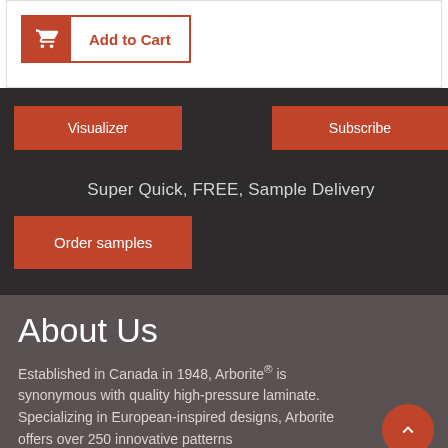[Figure (screenshot): Add to Cart button with shopping cart icon on the left in a red/orange box and 'Add to Cart' text in red/orange beside it, outlined with a red/orange border.]
Visualizer
Subscribe
Super Quick, FREE, Sample Delivery
Order samples
About Us
Established in Canada in 1948, Arborite® is synonymous with quality high-pressure laminate. Specializing in European-inspired designs, Arborite offers over 250 innovative patterns